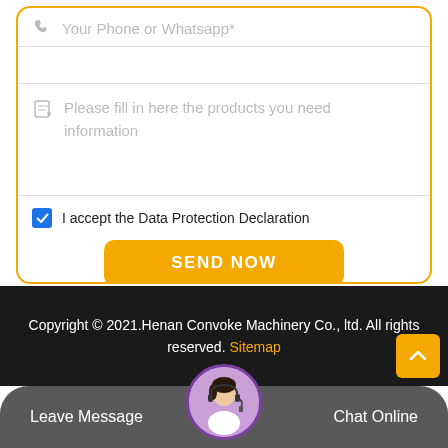[Figure (screenshot): Contact form with phone/whatsapp field, empty input, message textarea, data protection checkbox, and Send Now button inside a yellow-bordered rounded rectangle]
I accept the Data Protection Declaration
SEND NOW
Copyright © 2021.Henan Convoke Machinery Co., ltd. All rights reserved. Sitemap
Leave Message
Chat Online